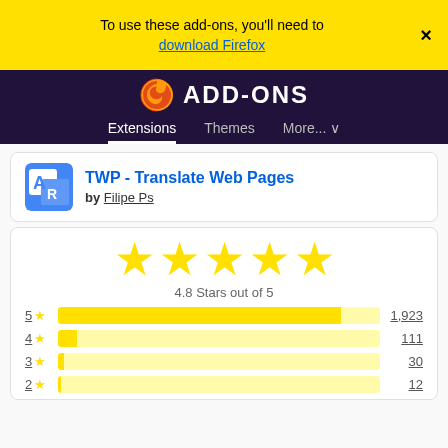To use these add-ons, you'll need to download Firefox
[Figure (screenshot): Firefox Add-ons site header with logo and navigation tabs: Extensions (active), Themes, More...]
TWP - Translate Web Pages
by Filipe Ps
[Figure (other): 5 yellow stars rating display, 4.8 Stars out of 5]
4.8 Stars out of 5
[Figure (bar-chart): Rating distribution]